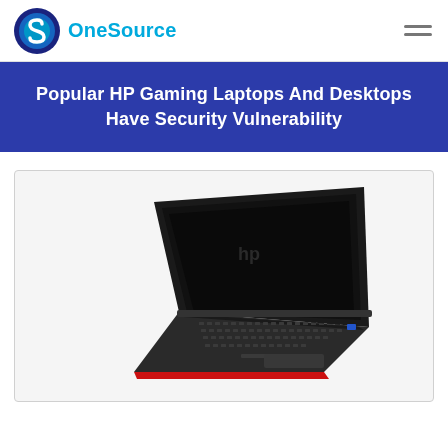OneSource
Popular HP Gaming Laptops And Desktops Have Security Vulnerability
[Figure (photo): HP gaming laptop open at an angle, showing keyboard and dark screen, with a red accent on the base, photographed from a three-quarter overhead perspective against a white background.]